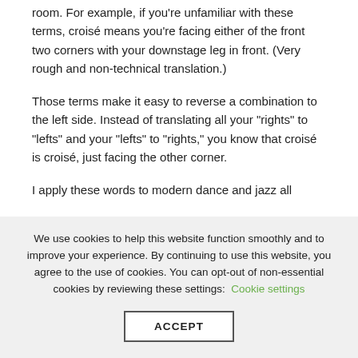room. For example, if you're unfamiliar with these terms, croisé means you're facing either of the front two corners with your downstage leg in front. (Very rough and non-technical translation.)
Those terms make it easy to reverse a combination to the left side. Instead of translating all your "rights" to "lefts" and your "lefts" to "rights," you know that croisé is croisé, just facing the other corner.
I apply these words to modern dance and jazz all
We use cookies to help this website function smoothly and to improve your experience. By continuing to use this website, you agree to the use of cookies. You can opt-out of non-essential cookies by reviewing these settings: Cookie settings
ACCEPT